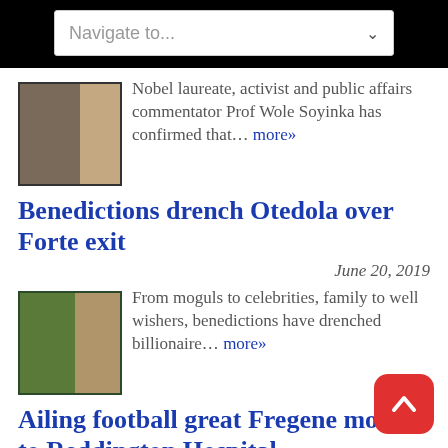Navigate to...
Nobel laureate, activist and public affairs commentator Prof Wole Soyinka has confirmed that… more»
Benedictions drench Otedola over Forte exit
June 20, 2019
From moguls to celebrities, family to well wishers, benedictions have drenched billionaire… more»
Ailing football great Fregene moved to Reddington Hospital,